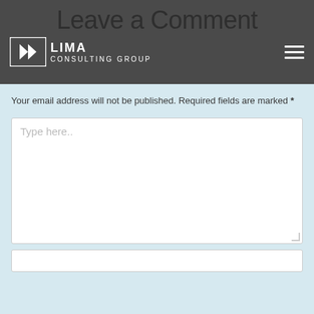Leave a Comment
[Figure (logo): Lima Consulting Group logo with arrow icon and text]
Your email address will not be published. Required fields are marked *
[Figure (screenshot): Comment text area form field with placeholder text 'Type here..']
[Figure (screenshot): Input form field (partially visible at bottom)]